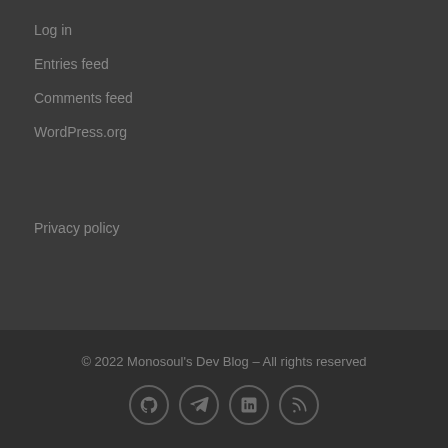Log in
Entries feed
Comments feed
WordPress.org
Privacy policy
© 2022 Monosoul's Dev Blog – All rights reserved
[Figure (other): Social media icons: GitHub, Telegram, LinkedIn, RSS feed]